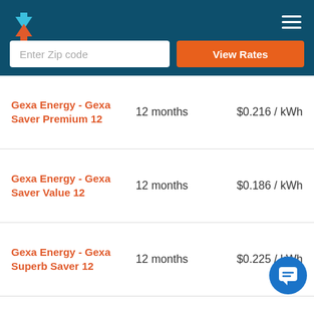Energy rate comparison app header with zip code input and View Rates button
| Plan Name | Term | Rate |
| --- | --- | --- |
| Gexa Energy - Gexa Saver Premium 12 | 12 months | $0.216 / kWh |
| Gexa Energy - Gexa Saver Value 12 | 12 months | $0.186 / kWh |
| Gexa Energy - Gexa Superb Saver 12 | 12 months | $0.225 / kWh |
| Amigo Energy - Amigo Web Plan 12 | 12 months | $0.205 / kWh |
| Amigo Energy | 12 months | ... |